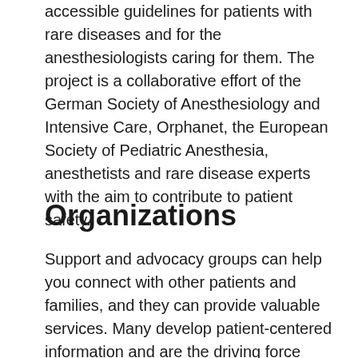accessible guidelines for patients with rare diseases and for the anesthesiologists caring for them. The project is a collaborative effort of the German Society of Anesthesiology and Intensive Care, Orphanet, the European Society of Pediatric Anesthesia, anesthetists and rare disease experts with the aim to contribute to patient safety.
Organizations
Support and advocacy groups can help you connect with other patients and families, and they can provide valuable services. Many develop patient-centered information and are the driving force behind research for better treatments and possible cures. They can direct you to research, resources, and services. Many organizations also